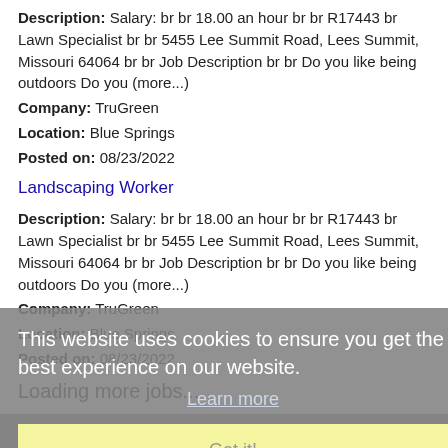Landscaping Specialist (link)
Description: Salary: br br 18.00 an hour br br R17443 br Lawn Specialist br br 5455 Lee Summit Road, Lees Summit, Missouri 64064 br br Job Description br br Do you like being outdoors Do you (more...)
Company: TruGreen
Location: Blue Springs
Posted on: 08/23/2022
Landscaping Worker
Description: Salary: br br 18.00 an hour br br R17443 br Lawn Specialist br br 5455 Lee Summit Road, Lees Summit, Missouri 64064 br br Job Description br br Do you like being outdoors Do you (more...)
Company: TruGreen
Location: Blue Springs
Posted on: 08/23/2022
Loading more jobs...
This website uses cookies to ensure you get the best experience on our website.
Learn more
Got it!
Log In or Create An Account
Username: